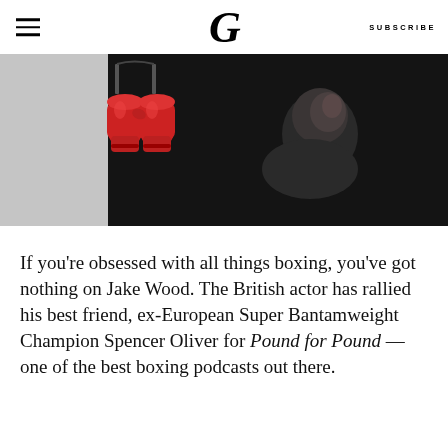G  SUBSCRIBE
[Figure (photo): Black and white photo of a bald man looking up, with red boxing gloves hanging in the foreground on the left side.]
If you're obsessed with all things boxing, you've got nothing on Jake Wood. The British actor has rallied his best friend, ex-European Super Bantamweight Champion Spencer Oliver for Pound for Pound — one of the best boxing podcasts out there.